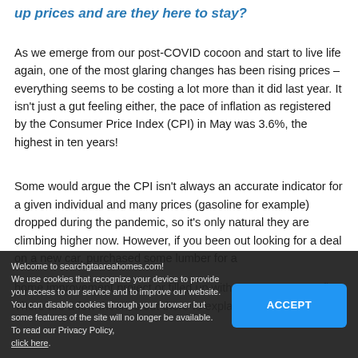up prices and are they here to stay?
As we emerge from our post-COVID cocoon and start to live life again, one of the most glaring changes has been rising prices – everything seems to be costing a lot more than it did last year. It isn't just a gut feeling either, the pace of inflation as registered by the Consumer Price Index (CPI) in May was 3.6%, the highest in ten years!
Some would argue the CPI isn't always an accurate indicator for a given individual and many prices (gasoline for example) dropped during the pandemic, so it's only natural they are climbing higher now. However, if you been out looking for a deal on a new car, purchased some lumber for a home improvement project or filled up with gas, you can confir... There are a few theories out there to explain why
Welcome to searchgtaareahomes.com!
We use cookies that recognize your device to provide you access to our service and to improve our website. You can disable cookies through your browser but some features of the site will no longer be available. To read our Privacy Policy, click here.